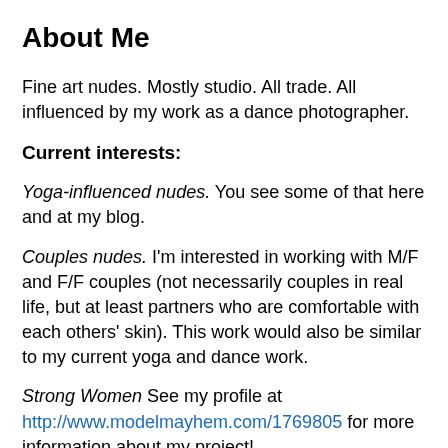About Me
Fine art nudes. Mostly studio. All trade. All influenced by my work as a dance photographer.
Current interests:
Yoga-influenced nudes. You see some of that here and at my blog.
Couples nudes. I'm interested in working with M/F and F/F couples (not necessarily couples in real life, but at least partners who are comfortable with each others' skin). This work would also be similar to my current yoga and dance work.
Strong Women See my profile at http://www.modelmayhem.com/1769805 for more information about my project!
What you should expect: A fun, professional shoot in a great